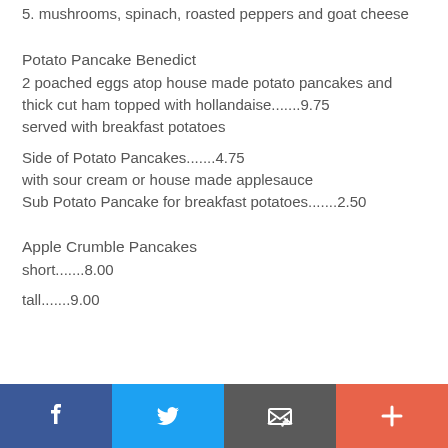5. mushrooms, spinach, roasted peppers and goat cheese
Potato Pancake Benedict
2 poached eggs atop house made potato pancakes and thick cut ham topped with hollandaise.......9.75 served with breakfast potatoes
Side of Potato Pancakes.......4.75
with sour cream or house made applesauce
Sub Potato Pancake for breakfast potatoes.......2.50
Apple Crumble Pancakes
short.......8.00
tall.......9.00
[Figure (infographic): Social media sharing bar with Facebook, Twitter, email, and plus buttons]